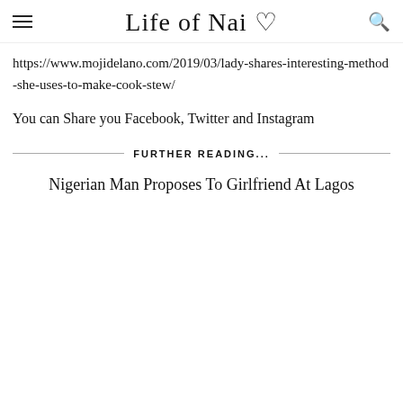Life of Nai ♡
https://www.mojidelano.com/2019/03/lady-shares-interesting-method-she-uses-to-make-cook-stew/
You can Share you Facebook, Twitter and Instagram
FURTHER READING...
Nigerian Man Proposes To Girlfriend At Lagos